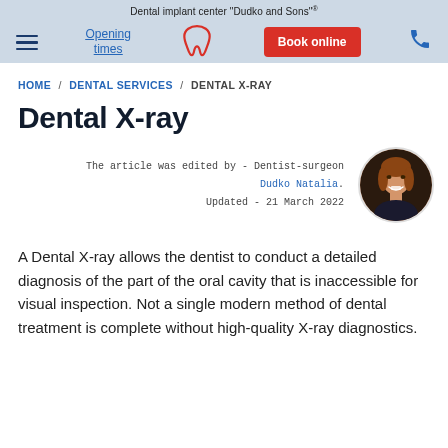Dental implant center "Dudko and Sons"
Opening times | Book online
HOME / DENTAL SERVICES / DENTAL X-RAY
Dental X-ray
The article was edited by - Dentist-surgeon Dudko Natalia. Updated - 21 March 2022
A Dental X-ray allows the dentist to conduct a detailed diagnosis of the part of the oral cavity that is inaccessible for visual inspection. Not a single modern method of dental treatment is complete without high-quality X-ray diagnostics.